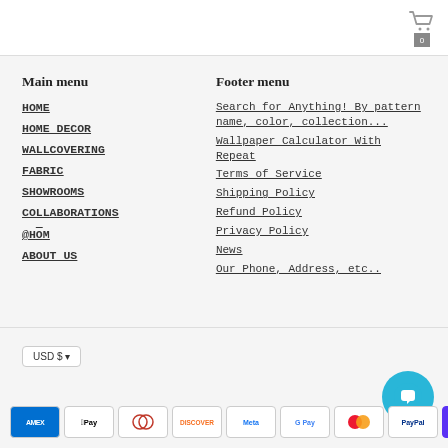Shopping cart icon with count: 0
Main menu
HOME
HOME DECOR
WALLCOVERING
FABRIC
SHOWROOMS
COLLABORATIONS
@HŌM
ABOUT US
Footer menu
Search for Anything! By pattern name, color, collection...
Wallpaper Calculator With Repeat
Terms of Service
Shipping Policy
Refund Policy
Privacy Policy
News
Our Phone, Address, etc..
USD $ | Payment icons: AMEX, Apple Pay, Diners, Discover, Meta, Google Pay, Mastercard, PayPal, ShopPay, Venmo